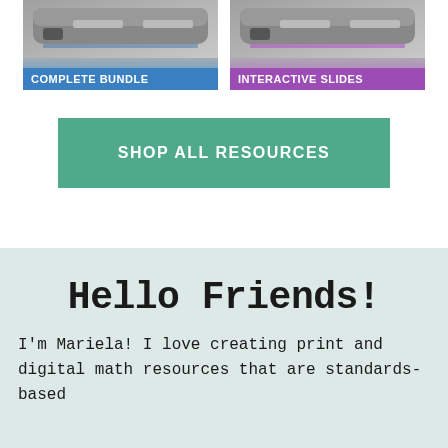[Figure (illustration): Two product card thumbnails side by side: left card has blue bottom bar labeled 'COMPLETE BUNDLE', right card has purple bottom bar labeled 'INTERACTIVE SLIDES'. Both show a school bus image with 'GRADE' text at top.]
SHOP ALL RESOURCES
Hello Friends!
I'm Mariela! I love creating print and digital math resources that are standards-based